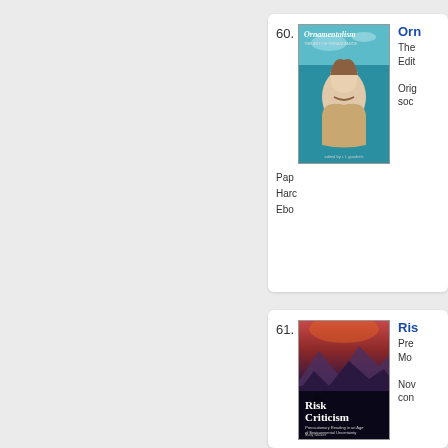60. Ornamentalism — The Art of Renaissance Accessories [Edition info] Original binding: social...
Pap... Hard... Ebo...
61. Risk Criticism — Precautionary Reading in an Age of Environmental Uncertainty. Molly Wallace. November... con...
Pap... Hard...